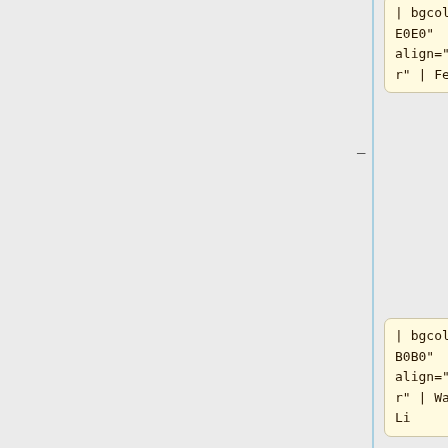| bgcolor="#E0E0E0" align="center" | Feb 28
| bgcolor="#F0B0B0" align="center" | Wanlin Li
| bgcolor="#BCE2FE"|
|-
|